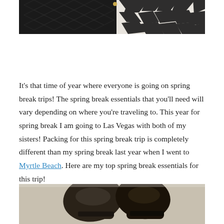[Figure (photo): Top portion of a fashion photo showing black quilted leather bag and houndstooth patterned fabric in black and white]
It's that time of year where everyone is going on spring break trips! The spring break essentials that you'll need will vary depending on where you're traveling to. This year for spring break I am going to Las Vegas with both of my sisters! Packing for this spring break trip is completely different than my spring break last year when I went to Myrtle Beach. Here are my top spring break essentials for this trip!
[Figure (photo): Bottom portion of a fashion photo showing dark brown/black shoes or heels]